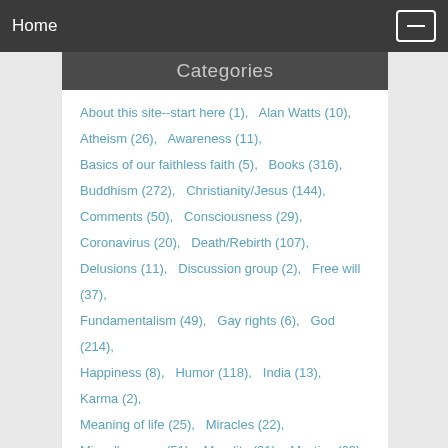Home
Categories
About this site--start here (1),   Alan Watts (10),
Atheism (26),   Awareness (11),
Basics of our faithless faith (5),   Books (316),
Buddhism (272),   Christianity/Jesus (144),
Comments (50),   Consciousness (29),
Coronavirus (20),   Death/Rebirth (107),
Delusions (11),   Discussion group (2),   Free will (37),
Fundamentalism (49),   Gay rights (6),   God (214),
Happiness (8),   Humor (118),   India (13),   Karma (2),
Meaning of life (25),   Miracles (22),
Miscellaneous (51),   Morality (91),   Mystics (63),
Open Threads (33)   Personal/Stories (272)